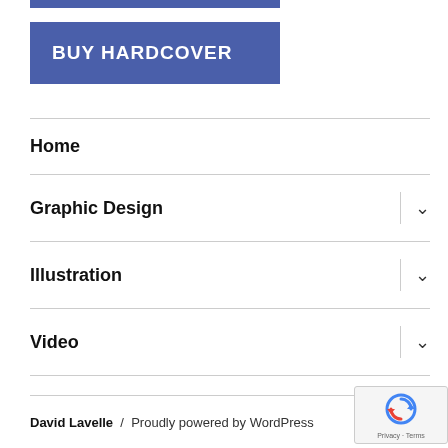[Figure (other): Blue rectangular button labeled BUY HARDCOVER]
Home
Graphic Design
Illustration
Video
Photography
David Lavelle / Proudly powered by WordPress